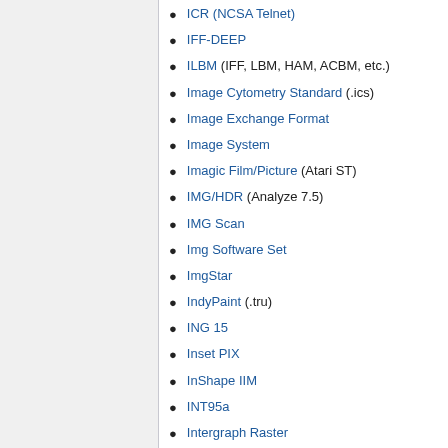ICR (NCSA Telnet)
IFF-DEEP
ILBM (IFF, LBM, HAM, ACBM, etc.)
Image Cytometry Standard (.ics)
Image Exchange Format
Image System
Imagic Film/Picture (Atari ST)
IMG/HDR (Analyze 7.5)
IMG Scan
Img Software Set
ImgStar
IndyPaint (.tru)
ING 15
Inset PIX
InShape IIM
INT95a
Intergraph Raster
Interlace Graphics Editor
Interlace Hires Editor
Interlace Logo Designer
Interleaf image
InterPainter